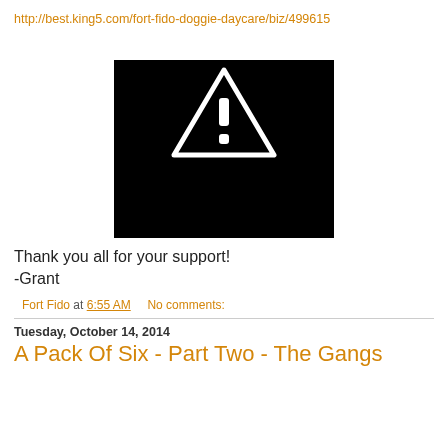http://best.king5.com/fort-fido-doggie-daycare/biz/499615
[Figure (screenshot): Black image with a white warning triangle containing an exclamation mark]
Thank you all for your support!
-Grant
Fort Fido at 6:55 AM   No comments:
Tuesday, October 14, 2014
A Pack Of Six - Part Two - The Gangs